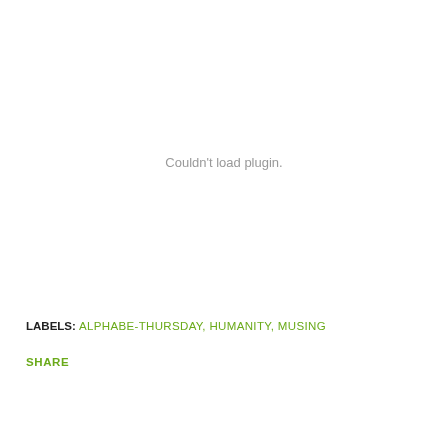Couldn't load plugin.
LABELS: ALPHABE-THURSDAY, HUMANITY, MUSING
SHARE